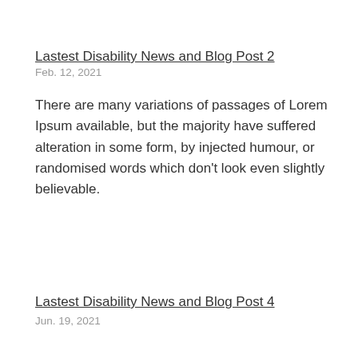Lastest Disability News and Blog Post 2
Feb. 12, 2021
There are many variations of passages of Lorem Ipsum available, but the majority have suffered alteration in some form, by injected humour, or randomised words which don't look even slightly believable.
Lastest Disability News and Blog Post 4
Jun. 19, 2021